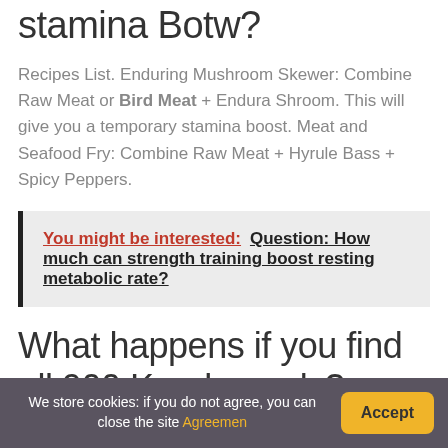What food increases stamina Botw?
Recipes List. Enduring Mushroom Skewer: Combine Raw Meat or Bird Meat + Endura Shroom. This will give you a temporary stamina boost. Meat and Seafood Fry: Combine Raw Meat + Hyrule Bass + Spicy Peppers.
You might be interested:  Question: How much can strength training boost resting metabolic rate?
What happens if you find all 900 Korok seeds?
We store cookies: if you do not agree, you can close the site Agreemen